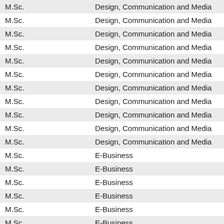| M.Sc. | Design, Communication and Media |
| M.Sc. | Design, Communication and Media |
| M.Sc. | Design, Communication and Media |
| M.Sc. | Design, Communication and Media |
| M.Sc. | Design, Communication and Media |
| M.Sc. | Design, Communication and Media |
| M.Sc. | Design, Communication and Media |
| M.Sc. | Design, Communication and Media |
| M.Sc. | Design, Communication and Media |
| M.Sc. | Design, Communication and Media |
| M.Sc. | Design, Communication and Media |
| M.Sc. | E-Business |
| M.Sc. | E-Business |
| M.Sc. | E-Business |
| M.Sc. | E-Business |
| M.Sc. | E-Business |
| M.Sc. | E-Business |
| M.Sc. | E-Business |
| M.Sc. | Interdisciplinary IT Development |
| M.Sc. | Interdisciplinary IT Development |
| M.Sc. | Interdisciplinary IT Development |
| M.Sc. | Interdisciplinary IT Development |
| M.Sc. | Interdisciplinary IT Development |